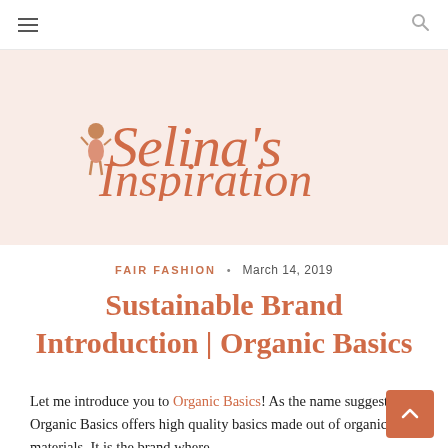≡  🔍
[Figure (logo): Selina's Inspiration blog logo in coral/salmon cursive script on a light pink background, with a small illustrated female figure]
FAIR FASHION • March 14, 2019
Sustainable Brand Introduction | Organic Basics
Let me introduce you to Organic Basics! As the name suggests, Organic Basics offers high quality basics made out of organic materials. It is the brand where